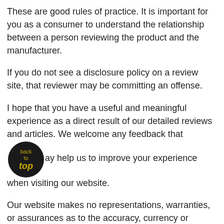These are good rules of practice. It is important for you as a consumer to understand the relationship between a person reviewing the product and the manufacturer.
If you do not see a disclosure policy on a review site, that reviewer may be committing an offense.
I hope that you have a useful and meaningful experience as a direct result of our detailed reviews and articles. We welcome any feedback that may help us to improve your experience when visiting our website.
Our website makes no representations, warranties, or assurances as to the accuracy, currency or completeness of the content contain on this website or any sites linked to this site.